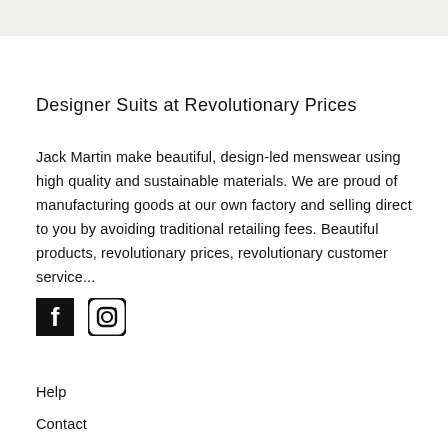Designer Suits at Revolutionary Prices
Jack Martin make beautiful, design-led menswear using high quality and sustainable materials. We are proud of manufacturing goods at our own factory and selling direct to you by avoiding traditional retailing fees. Beautiful products, revolutionary prices, revolutionary customer service...
[Figure (logo): Facebook logo icon (black square with white f) and Instagram logo icon (rounded square outline with circle and dot)]
Help
Contact
About Jack Martin